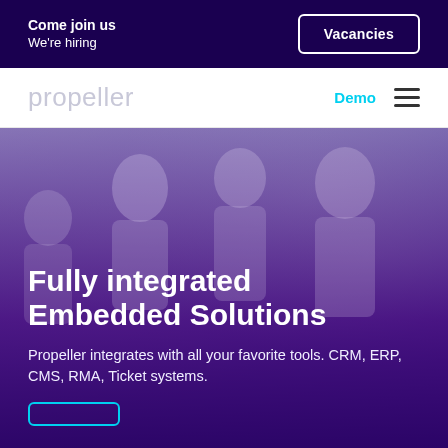Come join us
We're hiring
Vacancies
propeller
Demo
[Figure (photo): Blurred background photo of office workers/call center employees with a purple color overlay. People are talking and one person is wearing a headset.]
Fully integrated Embedded Solutions
Propeller integrates with all your favorite tools. CRM, ERP, CMS, RMA, Ticket systems.